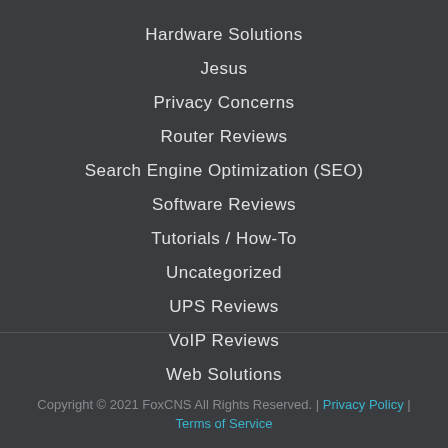Hardware Solutions
Jesus
Privacy Concerns
Router Reviews
Search Engine Optimization (SEO)
Software Reviews
Tutorials / How-To
Uncategorized
UPS Reviews
VoIP Reviews
Web Solutions
Copyright © 2021 FoxCNS All Rights Reserved. | Privacy Policy | Terms of Service